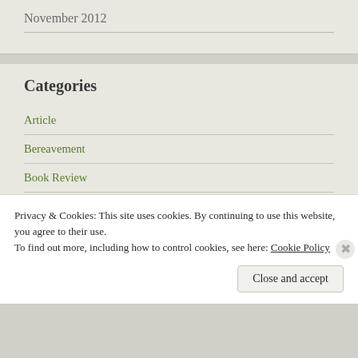November 2012
Categories
Article
Bereavement
Book Review
Certification
Chapter Life
Clinical Pastoral Education
Privacy & Cookies: This site uses cookies. By continuing to use this website, you agree to their use.
To find out more, including how to control cookies, see here: Cookie Policy